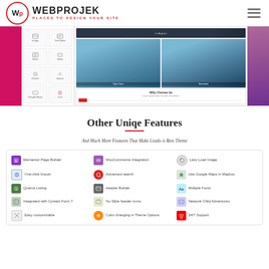[Figure (screenshot): Website header with WEBPROJEK logo (WP in red circle) and tagline PLACES TO DESIGN YOUR SITE, hamburger menu on right]
[Figure (screenshot): Website screenshot showing a page builder panel, image gallery with cityscapes, purple sidebar, and Why Choose Us section with red button]
Other Uniqe Features
And Much More Features That Make Listdo is Best Theme
| Feature 1 | Feature 2 | Feature 3 |
| --- | --- | --- |
| Elementor Page Builder | WooCommerce Integration | Lazy Load Image |
| One-click Import | Advanced search | Use Google Maps in Mapbox |
| Qvarna Listing | Header Builder | Multiple Fonts |
| Integrated with Contact Form 7 | No Slide header icons | Network Child Adventures |
| Easy customizable | Color changing in Theme Options | 24/7 Support |